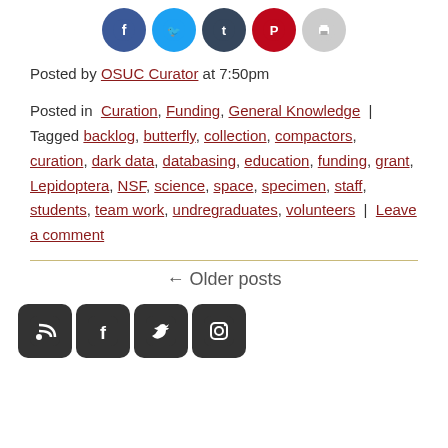[Figure (other): Social share buttons: Facebook, Twitter, Tumblr, Pinterest, Print]
Posted by OSUC Curator at 7:50pm
Posted in Curation, Funding, General Knowledge | Tagged backlog, butterfly, collection, compactors, curation, dark data, databasing, education, funding, grant, Lepidoptera, NSF, science, space, specimen, staff, students, team work, undregraduates, volunteers | Leave a comment
← Older posts
[Figure (other): Social footer icons: RSS, Facebook, Twitter, Instagram]